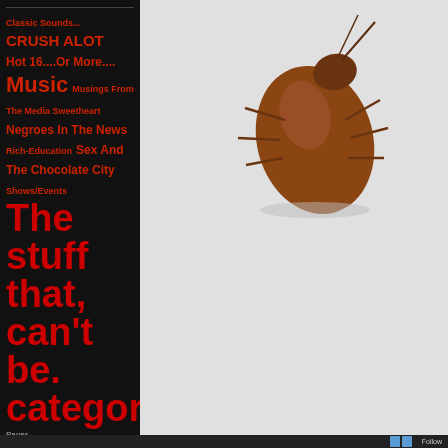Classic Sounds...
CRUSH ALOT
Hot 16....Or More....
Music
Musings From The Media Sweetheart
Negroes In The News
Rich-Education
Sex And The Chocolate City
Shows/Events
The stuff that can't be categorized.
Pages
Music
WHy 16?
Blogroll
16's Official Site
[Figure (photo): Close-up macro photo of a bed bug (reddish-brown insect) on a light grey/white background, upper right area of main content.]
Follow